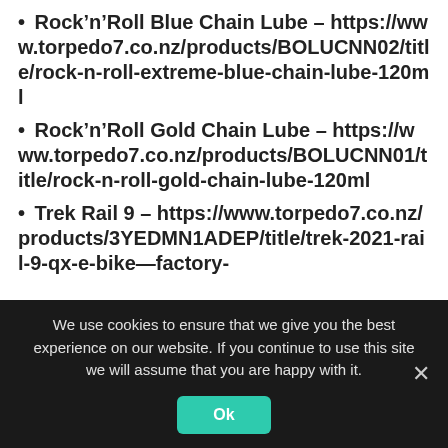• Rock'n'Roll Blue Chain Lube – https://www.torpedo7.co.nz/products/BOLUCNN02/title/rock-n-roll-extreme-blue-chain-lube-120ml
• Rock'n'Roll Gold Chain Lube – https://www.torpedo7.co.nz/products/BOLUCNN01/title/rock-n-roll-gold-chain-lube-120ml
• Trek Rail 9 – https://www.torpedo7.co.nz/products/3YEDMN1ADEP/title/trek-2021-rail-9-qx-e-bike–factory-
We use cookies to ensure that we give you the best experience on our website. If you continue to use this site we will assume that you are happy with it.